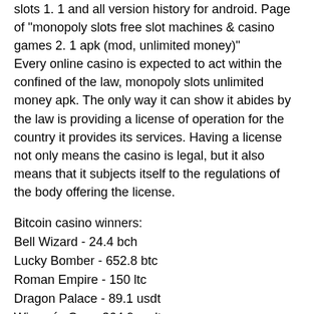slots 1. 1 and all version history for android. Page of &quot;monopoly slots free slot machines &amp; casino games 2. 1 apk (mod, unlimited money)&quot; Every online casino is expected to act within the confined of the law, monopoly slots unlimited money apk. The only way it can show it abides by the law is providing a license of operation for the country it provides its services. Having a license not only means the casino is legal, but it also means that it subjects itself to the regulations of the body offering the license.
Bitcoin casino winners:
Bell Wizard - 24.4 bch
Lucky Bomber - 652.8 btc
Roman Empire - 150 ltc
Dragon Palace - 89.1 usdt
Winner´s Cup - 364.9 usdt
La Dolce Vita Golden Nights - 674.1 usdt